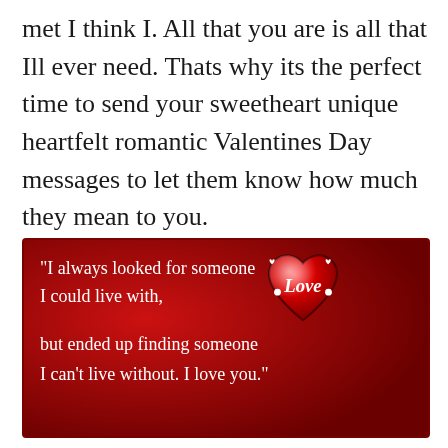met I think I. All that you are is all that Ill ever need. Thats why its the perfect time to send your sweetheart unique heartfelt romantic Valentines Day messages to let them know how much they mean to you.
[Figure (illustration): Dark red Valentine's Day card with cursive white text reading: "I always looked for someone I could live with, but ended up finding someone I can't live without. I love you." with a large glossy red heart bearing the word 'Love' in script on the right side.]